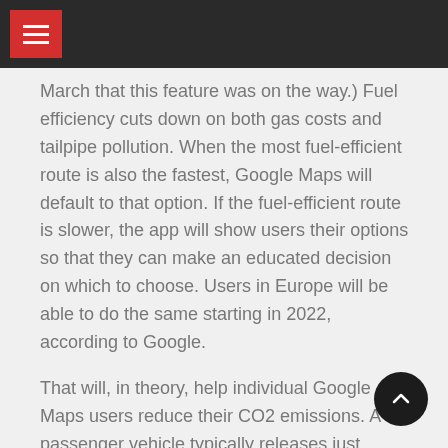March that this feature was on the way.) Fuel efficiency cuts down on both gas costs and tailpipe pollution. When the most fuel-efficient route is also the fastest, Google Maps will default to that option. If the fuel-efficient route is slower, the app will show users their options so that they can make an educated decision on which to choose. Users in Europe will be able to do the same starting in 2022, according to Google.
That will, in theory, help individual Google Maps users reduce their CO2 emissions. A passenger vehicle typically releases just under five metric tons of CO2 a year. And a person in the US, which has one of the highest rates of per capita emissions in the world, might be responsible for about 18 metric tons a year.